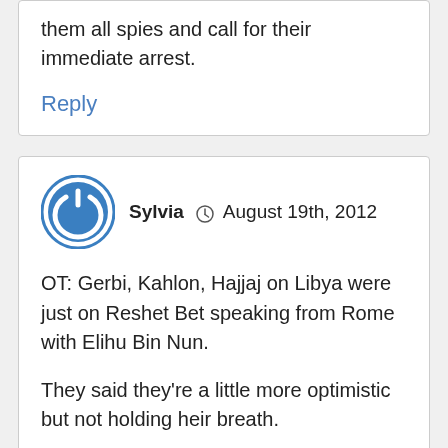them all spies and call for their immediate arrest.
Reply
Sylvia  August 19th, 2012
OT: Gerbi, Kahlon, Hajjaj on Libya were just on Reshet Bet speaking from Rome with Elihu Bin Nun.
They said they're a little more optimistic but not holding heir breath.